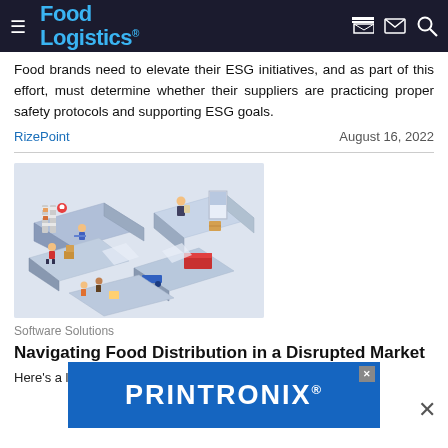Food Logistics
Food brands need to elevate their ESG initiatives, and as part of this effort, must determine whether their suppliers are practicing proper safety protocols and supporting ESG goals.
RizePoint   August 16, 2022
[Figure (illustration): Isometric illustration of warehouse and food distribution logistics operations with workers, shelves, boxes, and delivery vehicles on blue platform tiles]
Software Solutions
Navigating Food Distribution in a Disrupted Market
Here's a look at... what's happening and how we can adapt to it.
[Figure (other): PRINTRONIX advertisement banner in blue]